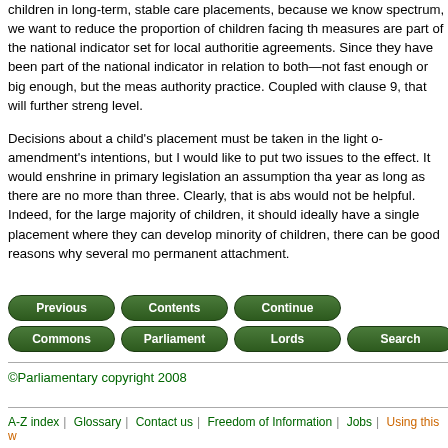children in long-term, stable care placements, because we know spectrum, we want to reduce the proportion of children facing th measures are part of the national indicator set for local authoritie agreements. Since they have been part of the national indicator in relation to both—not fast enough or big enough, but the meas authority practice. Coupled with clause 9, that will further streng level.
Decisions about a child's placement must be taken in the light o amendment's intentions, but I would like to put two issues to the effect. It would enshrine in primary legislation an assumption tha year as long as there are no more than three. Clearly, that is abs would not be helpful. Indeed, for the large majority of children, it should ideally have a single placement where they can develop minority of children, there can be good reasons why several mo permanent attachment.
[Figure (other): Navigation buttons: Previous, Contents, Continue (row 1); Commons, Parliament, Lords, Search (row 2)]
©Parliamentary copyright 2008
A-Z index | Glossary | Contact us | Freedom of Information | Jobs | Using this w